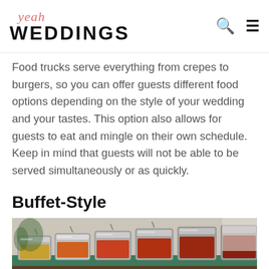yeah WEDDINGS
Food trucks serve everything from crepes to burgers, so you can offer guests different food options depending on the style of your wedding and your tastes. This option also allows for guests to eat and mingle on their own schedule. Keep in mind that guests will not be able to be served simultaneously or as quickly.
Buffet-Style
[Figure (photo): A row of silver chafing dishes on a buffet table with colorful food items, photographed at an angle in a banquet or event setting.]